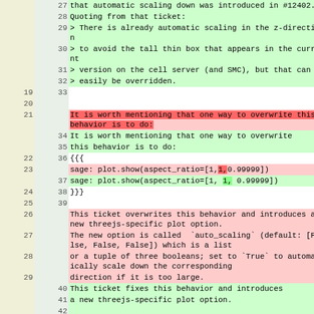| old | new | text |
| --- | --- | --- |
|  | 27 | that automatic scaling down was introduced in #12402. |
|  | 28 | Quoting from that ticket: |
|  | 29 | > There is already automatic scaling in the z-direction |
|  | 30 | > to avoid the tall thin box that appears in the current |
|  | 31 | > version on the cell server (and SMC), but that can |
|  | 32 | > easily be overridden. |
| 19 | 33 |  |
| 20 |  |  |
| 21 |  | It is worth mentioning that one way to overwrite this behavior is to do: |
|  | 34 | It is worth mentioning that one way to overwrite |
|  | 35 | this behavior is to do: |
| 22 | 36 | {{{ |
| 23 |  | sage: plot.show(aspect_ratio=[1,1,0.99999]) |
|  | 37 | sage: plot.show(aspect_ratio=[1, 1, 0.99999]) |
| 24 | 38 | }}} |
| 25 | 39 |  |
| 26 |  | This ticket overwrites this behavior and introduces a new threejs-specific plot option. |
| 27 |  | The new option is called `auto_scaling` (default: [False, False, False]) which is a list |
| 28 |  | or a tuple of three booleans; set to `True` to automatically scale down the corresponding |
| 29 |  | direction if it is too large. |
|  | 40 | This ticket fixes this behavior and introduces |
|  | 41 | a new threejs-specific plot option. |
|  | 42 |  |
|  | 43 | The new option is called  `auto_scaling` |
|  | 44 | (default: [False, False, False]) and takes |
|  | 45 | a list or a tuple of three booleans; |